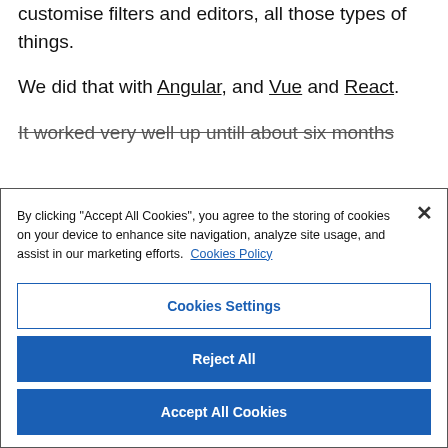customise filters and editors, all those types of things.
We did that with Angular, and Vue and React.
It worked very well up untill about six months...
By clicking "Accept All Cookies", you agree to the storing of cookies on your device to enhance site navigation, analyze site usage, and assist in our marketing efforts. Cookies Policy
Cookies Settings
Reject All
Accept All Cookies